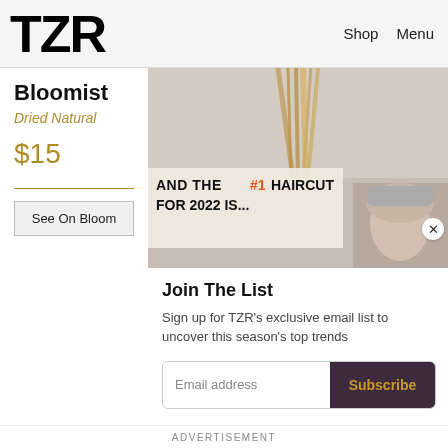TZR  Shop  Menu
Bloomist
Dried Natural
$15
See On Bloom
[Figure (photo): Hero image area with decorative dried bamboo/stick arrangement and woman's face, with overlay headline: AND THE #1 HAIRCUT FOR 2022 IS...]
Join The List
Sign up for TZR's exclusive email list to uncover this season's top trends
Email address  Subscribe
ADVERTISEMENT